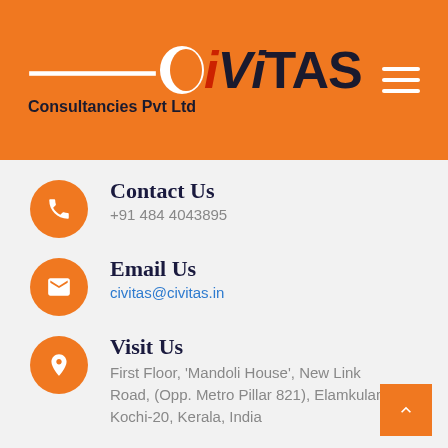[Figure (logo): CIVITAS Consultancies Pvt Ltd logo on orange header background with hamburger menu icon]
Contact Us
+91 484 4043895
Email Us
civitas@civitas.in
Visit Us
First Floor, 'Mandoli House', New Link Road, (Opp. Metro Pillar 821), Elamkulam, Kochi-20, Kerala, India